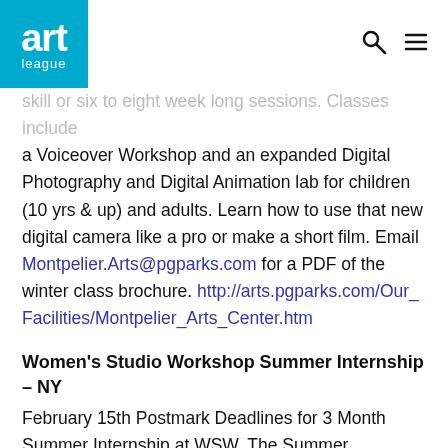art league
skill or six to eight week long sessions. Classes include a Voiceover Workshop and an expanded Digital Photography and Digital Animation lab for children (10 yrs & up) and adults. Learn how to use that new digital camera like a pro or make a short film. Email Montpelier.Arts@pgparks.com for a PDF of the winter class brochure. http://arts.pgparks.com/Our_Facilities/Montpelier_Arts_Center.htm
Women's Studio Workshop Summer Internship – NY
February 15th Postmark Deadlines for 3 Month Summer Internship at WSW. The Summer Internship is a special opportunity for emerging artists with a flair for food and farming and studio skills. This 3 month internship runs throughout the duration of our Summer